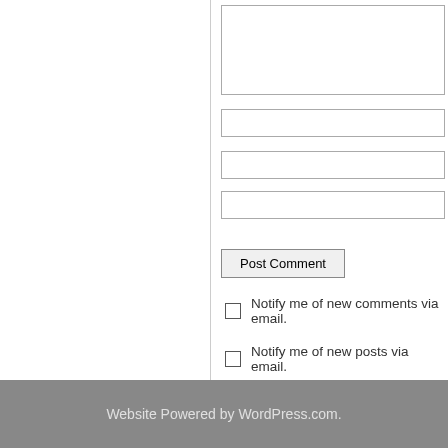[Figure (screenshot): Partial view of a blog comment form with textarea, input fields, Post Comment button, and notification checkboxes]
Notify me of new comments via email.
Notify me of new posts via email.
« Turks & Caicos plus Azerbaijan IGAs bring…
9 Tax Facts about Amer…
Website Powered by WordPress.com.